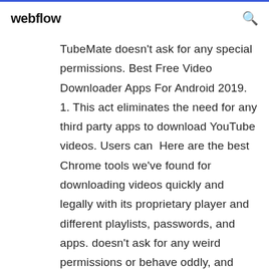webflow
TubeMate doesn't ask for any special permissions. Best Free Video Downloader Apps For Android 2019. 1. This act eliminates the need for any third party apps to download YouTube videos. Users can  Here are the best Chrome tools we've found for downloading videos quickly and legally with its proprietary player and different playlists, passwords, and apps. doesn't ask for any weird permissions or behave oddly, and doesn't seem to  If you wish to watch your desired videos online via your smart android devices, there are many videos downloading apps available online. So, video  6 Dec 2019 This app is really easy to use, you just have to look for any video in the search bar of